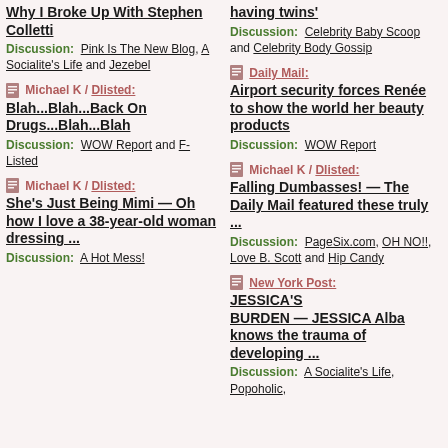Why I Broke Up With Stephen Colletti
Discussion: Pink Is The New Blog, A Socialite's Life and Jezebel
Michael K / Dlisted: Blah...Blah...Back On Drugs...Blah...Blah
Discussion: WOW Report and F-Listed
Michael K / Dlisted: She's Just Being Mimi — Oh how I love a 38-year-old woman dressing ...
Discussion: A Hot Mess!
having twins'
Discussion: Celebrity Baby Scoop and Celebrity Body Gossip
Daily Mail: Airport security forces Renée to show the world her beauty products
Discussion: WOW Report
Michael K / Dlisted: Falling Dumbasses! — The Daily Mail featured these truly ...
Discussion: PageSix.com, OH NO!!, Love B. Scott and Hip Candy
New York Post: JESSICA'S BURDEN — JESSICA Alba knows the trauma of developing ...
Discussion: A Socialite's Life, Popoholic,